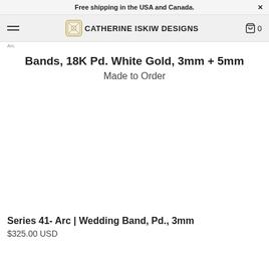Free shipping in the USA and Canada.
CATHERINE ISKIW DESIGNS
Bands, 18K Pd. White Gold, 3mm + 5mm
Made to Order
[Figure (other): Blank white product image area]
Series 41- Arc | Wedding Band, Pd., 3mm
$325.00 USD